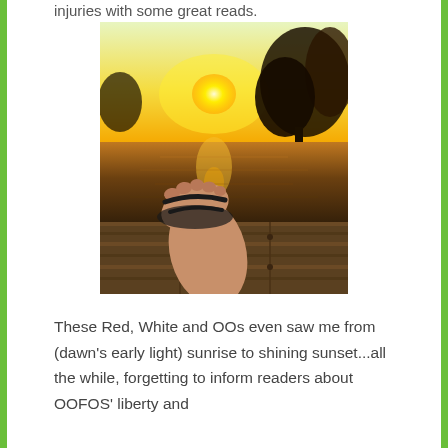injuries with some great reads.
[Figure (photo): A foot wearing a sandal/flip-flop propped up on wooden dock boards, with a scenic sunset over a lake and trees in the background. Golden orange sun setting on the horizon, reflected in calm water.]
These Red, White and OOs even saw me from (dawn's early light) sunrise to shining sunset...all the while, forgetting to inform readers about OOFOS' liberty and